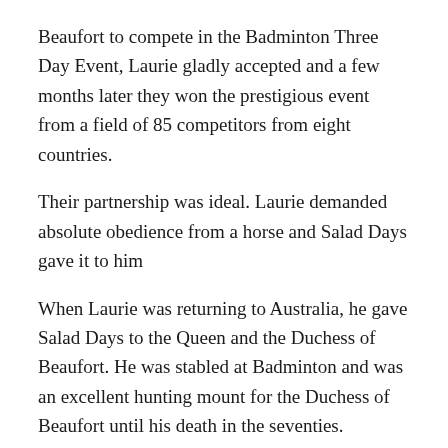Beaufort to compete in the Badminton Three Day Event, Laurie gladly accepted and a few months later they won the prestigious event from a field of 85 competitors from eight countries.
Their partnership was ideal. Laurie demanded absolute obedience from a horse and Salad Days gave it to him
When Laurie was returning to Australia, he gave Salad Days to the Queen and the Duchess of Beaufort. He was stabled at Badminton and was an excellent hunting mount for the Duchess of Beaufort until his death in the seventies.